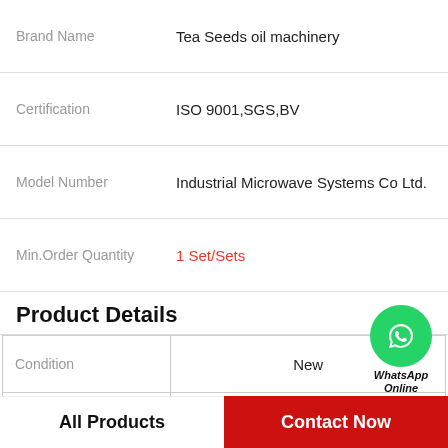| Field | Value |
| --- | --- |
| Brand Name | Tea Seeds oil machinery |
| Certification | ISO 9001,SGS,BV |
| Model Number | Industrial Microwave Systems Co Ltd. |
| Min.Order Quantity | 1 Set/Sets |
Product Details
| Attribute | Value |
| --- | --- |
| Condition | New |
| Usage | Rapeseed Oil |
| Type | Cold & Hot Pressing Machine |
| Automatic Grade | Automatic |
[Figure (logo): WhatsApp Online badge with green phone icon circle and text 'WhatsApp Online']
All Products
Contact Now